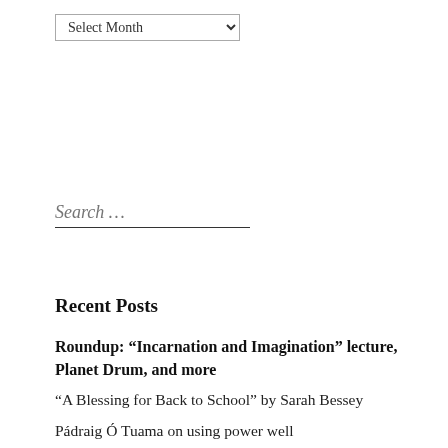[Figure (other): A 'Select Month' dropdown UI element]
Search …
Recent Posts
Roundup: “Incarnation and Imagination” lecture, Planet Drum, and more
“A Blessing for Back to School” by Sarah Bessey
Pádraig Ó Tuama on using power well
“O Christ, Thou Art Within Me Like a Sea” by Edith Lovejoy Pierce (poem)